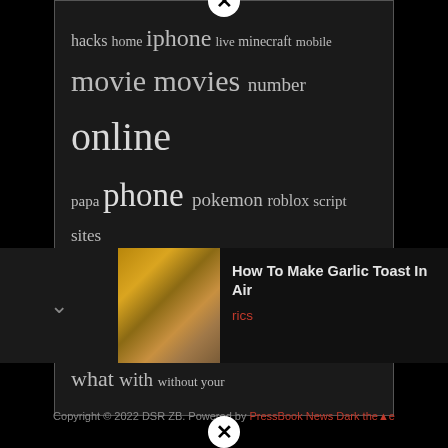[Figure (screenshot): Word cloud popup panel with dark background showing various tags: hacks, home, iphone, live, minecraft, mobile, movie, movies, number, online, papa, phone, pokemon, roblox, script, sites, start, stream, unblocked, watch, what, with, without, your]
hacks home iphone live minecraft mobile movie movies number online papa phone pokemon roblox script sites start stream unblocked watch what with without your
[Figure (photo): Garlic toast bread pieces on a white plate]
How To Make Garlic Toast In Air
rics
Copyright © 2022 DSR ZB. Powered by PressBook News Dark theme